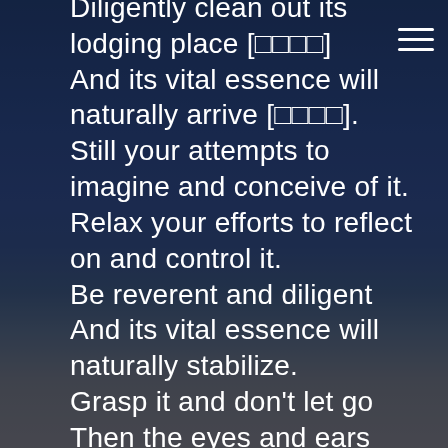Diligently clean out its lodging place [□□□□]
And its vital essence will naturally arrive [□□□□].
Still your attempts to imagine and conceive of it.
Relax your efforts to reflect on and control it.
Be reverent and diligent
And its vital essence will naturally stabilize.
Grasp it and don't let go
Then the eyes and ears won't overflow
And the mind will have nothing else to seek